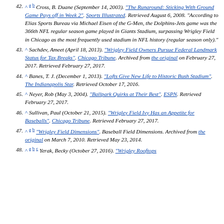42. ^ a b Cross, B. Duane (September 14, 2003). "The Runaround: Sticking With Ground Game Pays off in Week 2". Sports Illustrated. Retrieved August 6, 2008. "According to Elias Sports Bureau via Michael Eisen of the G-Men, the Dolphins-Jets game was the 366th NFL regular season game played in Giants Stadium, surpassing Wrigley Field in Chicago as the most frequently used stadium in NFL history (regular season only)."
43. ^ Sachdev, Ameet (April 18, 2013). "Wrigley Field Owners Pursue Federal Landmark Status for Tax Breaks". Chicago Tribune. Archived from the original on February 27, 2017. Retrieved February 27, 2017.
44. ^ Banes, T. J. (December 1, 2013). "Lofts Give New Life to Historic Bush Stadium". The Indianapolis Star. Retrieved October 17, 2016.
45. ^ Neyer, Rob (May 3, 2004). "Ballpark Quirks at Their Best". ESPN. Retrieved February 27, 2017.
46. ^ Sullivan, Paul (October 21, 2015). "Wrigley Field Ivy Has an Appetite for Baseballs". Chicago Tribune. Retrieved February 27, 2017.
47. ^ a b "Wrigley Field Dimensions". Baseball Field Dimensions. Archived from the original on March 7, 2010. Retrieved May 23, 2014.
48. ^ a b c Yerak, Becky (October 27, 2016). "Wrigley Rooftops..."